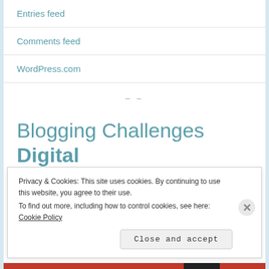Entries feed
Comments feed
WordPress.com
– –
Blogging Challenges Digital
drawings
Privacy & Cookies: This site uses cookies. By continuing to use this website, you agree to their use.
To find out more, including how to control cookies, see here: Cookie Policy
Close and accept